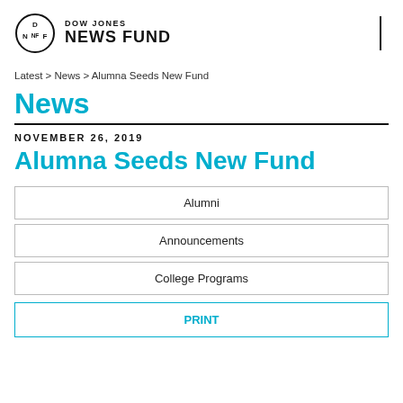[Figure (logo): Dow Jones News Fund logo: circle with D/NF initials and text 'DOW JONES NEWS FUND']
Latest > News > Alumna Seeds New Fund
News
NOVEMBER 26, 2019
Alumna Seeds New Fund
Alumni
Announcements
College Programs
PRINT